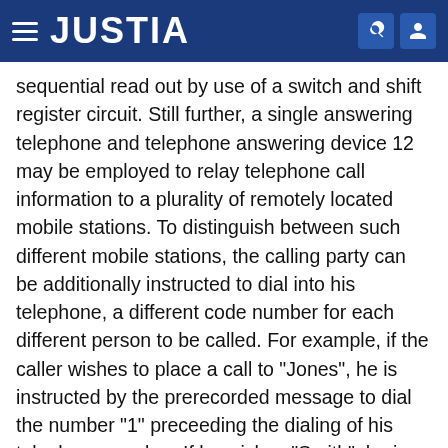JUSTIA
sequential read out by use of a switch and shift register circuit. Still further, a single answering telephone and telephone answering device 12 may be employed to relay telephone call information to a plurality of remotely located mobile stations. To distinguish between such different mobile stations, the calling party can be additionally instructed to dial into his telephone, a different code number for each different person to be called. For example, if the caller wishes to place a call to "Jones", he is instructed by the prerecorded message to dial the number "1" preceeding the dialing of his telephone number. If he wishes "Smith", he is instructed to dial "2"; or if "Thompson" then to dial "3". In a well known manner, each mobile receiver may be made responsive to a different first digit of a received code, whereby Jones' receiver responds only to a code number preceeded by the number "1". Smith by the